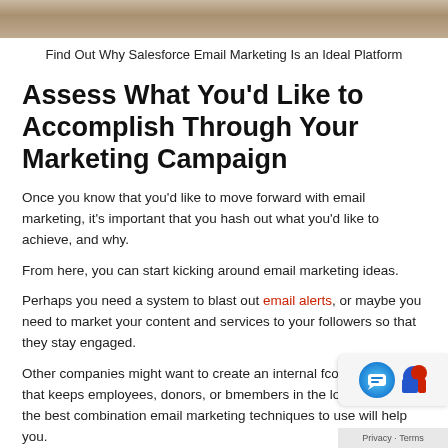[Figure (photo): Cropped photo strip at the top of the page showing a person]
Find Out Why Salesforce Email Marketing Is an Ideal Platform
Assess What You'd Like to Accomplish Through Your Marketing Campaign
Once you know that you'd like to move forward with email marketing, it's important that you hash out what you'd like to achieve, and why.
From here, you can start kicking around email marketing ideas.
Perhaps you need a system to blast out email alerts, or maybe you need to market your content and services to your followers so that they stay engaged.
Other companies might want to create an internal communication that keeps employees, donors, or board members in the loop. Putting the best combination of email marketing techniques to use will help you.